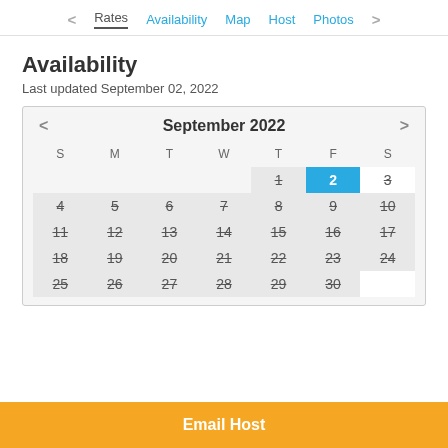< Rates  Availability  Map  Host  Photos  >
Availability
Last updated September 02, 2022
[Figure (other): September 2022 availability calendar. Days 1-30 shown. Day 2 highlighted in blue. All days struck through indicating unavailable. White background on day 3 and last row corner.]
Email Host